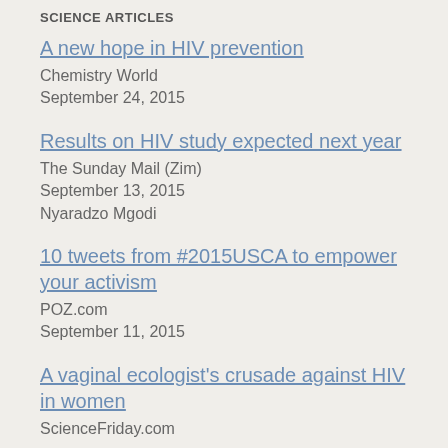SCIENCE ARTICLES
A new hope in HIV prevention
Chemistry World
September 24, 2015
Results on HIV study expected next year
The Sunday Mail (Zim)
September 13, 2015
Nyaradzo Mgodi
10 tweets from #2015USCA to empower your activism
POZ.com
September 11, 2015
A vaginal ecologist's crusade against HIV in women
ScienceFriday.com